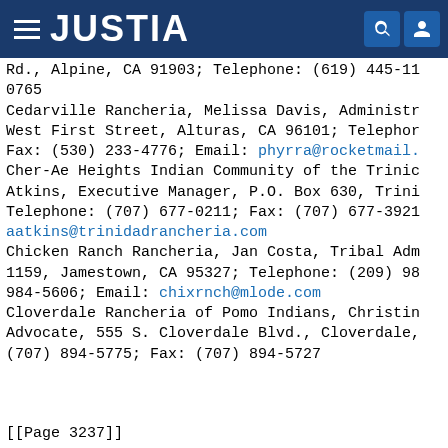JUSTIA
Rd., Alpine, CA 91903; Telephone: (619) 445-11
0765
Cedarville Rancheria, Melissa Davis, Administrator, West First Street, Alturas, CA 96101; Telephone: Fax: (530) 233-4776; Email: phyrra@rocketmail.
Cher-Ae Heights Indian Community of the Trinidad Rancheria, Atkins, Executive Manager, P.O. Box 630, Trinidad, CA; Telephone: (707) 677-0211; Fax: (707) 677-3921; Email: aatkins@trinidadrancheria.com
Chicken Ranch Rancheria, Jan Costa, Tribal Administrator, P.O. Box 1159, Jamestown, CA 95327; Telephone: (209) 984-5606; Fax: (209) 984-5606; Email: chixrnch@mlode.com
Cloverdale Rancheria of Pomo Indians, Christina, Advocate, 555 S. Cloverdale Blvd., Cloverdale, CA; Telephone: (707) 894-5775; Fax: (707) 894-5727
[[Page 3237]]